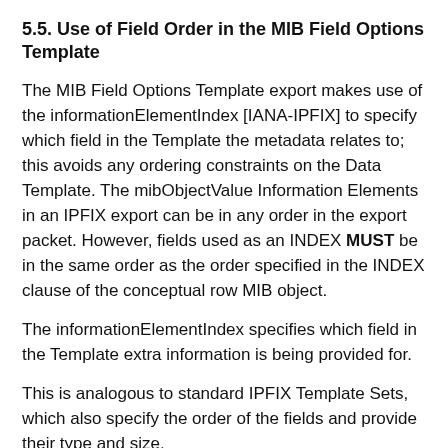5.5. Use of Field Order in the MIB Field Options Template
The MIB Field Options Template export makes use of the informationElementIndex [IANA-IPFIX] to specify which field in the Template the metadata relates to; this avoids any ordering constraints on the Data Template. The mibObjectValue Information Elements in an IPFIX export can be in any order in the export packet. However, fields used as an INDEX MUST be in the same order as the order specified in the INDEX clause of the conceptual row MIB object.
The informationElementIndex specifies which field in the Template extra information is being provided for.
This is analogous to standard IPFIX Template Sets, which also specify the order of the fields and provide their type and size.
If the Template changes such that the order is different, then the MIB Field Options Data MUST be resent to reflect the new ordering. A new Template ID MUST be used to